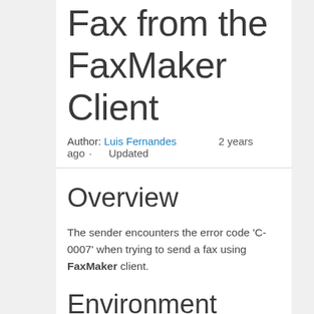Fax from the FaxMaker Client
Author: Luis Fernandes   2 years ago · Updated
Overview
The sender encounters the error code 'C-0007' when trying to send a fax using FaxMaker client.
Environment
FaxMaker